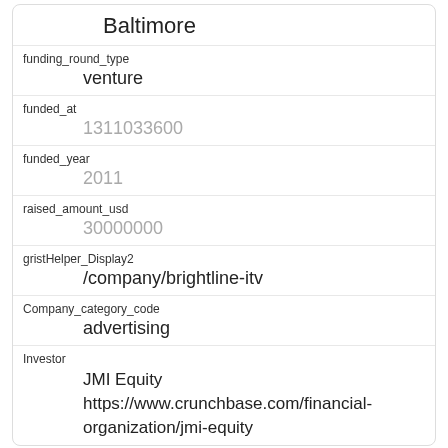Baltimore
funding_round_type
venture
funded_at
1311033600
funded_year
2011
raised_amount_usd
30000000
gristHelper_Display2
/company/brightline-itv
Company_category_code
advertising
Investor
JMI Equity https://www.crunchbase.com/financial-organization/jmi-equity
id
2344
manualSort